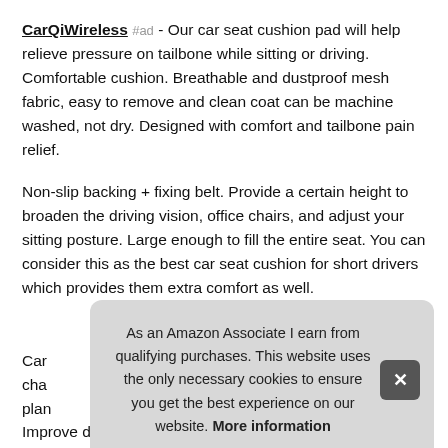CarQiWireless #ad - Our car seat cushion pad will help relieve pressure on tailbone while sitting or driving. Comfortable cushion. Breathable and dustproof mesh fabric, easy to remove and clean coat can be machine washed, not dry. Designed with comfort and tailbone pain relief.
Non-slip backing + fixing belt. Provide a certain height to broaden the driving vision, office chairs, and adjust your sitting posture. Large enough to fill the entire seat. You can consider this as the best car seat cushion for short drivers which provides them extra comfort as well.
More information #ad
Car cha plan
As an Amazon Associate I earn from qualifying purchases. This website uses the only necessary cookies to ensure you get the best experience on our website. More information
Improve driving vision. Aids in relief of lower back pain, car